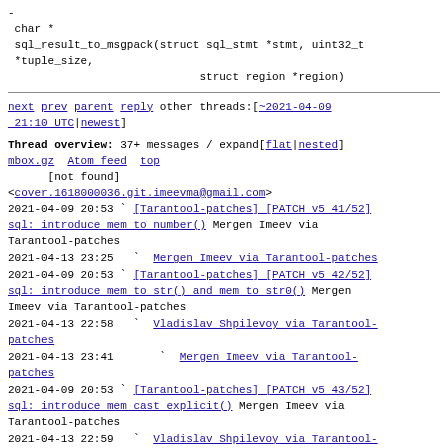-
 char *
 sql_result_to_msgpack(struct sql_stmt *stmt, uint32_t *tuple_size,
                             struct region *region)
next prev parent reply  other threads:[~2021-04-09 21:10 UTC|newest]
Thread overview: 37+ messages / expand[flat|nested]
mbox.gz  Atom feed  top
      [not found]
<cover.1618000036.git.imeevma@gmail.com>
2021-04-09 20:53 ` [Tarantool-patches] [PATCH v5 41/52] sql: introduce mem to number() Mergen Imeev via Tarantool-patches
2021-04-13 23:25   ` Mergen Imeev via Tarantool-patches
2021-04-09 20:53 ` [Tarantool-patches] [PATCH v5 42/52] sql: introduce mem to str() and mem to str0() Mergen Imeev via Tarantool-patches
2021-04-13 22:58   ` Vladislav Shpilevoy via Tarantool-patches
2021-04-13 23:41     ` Mergen Imeev via Tarantool-patches
2021-04-09 20:53 ` [Tarantool-patches] [PATCH v5 43/52] sql: introduce mem cast explicit() Mergen Imeev via Tarantool-patches
2021-04-13 22:59   ` Vladislav Shpilevoy via Tarantool-patches
2021-04-14  0:01   ` Mergen Imeev via Tarantool-